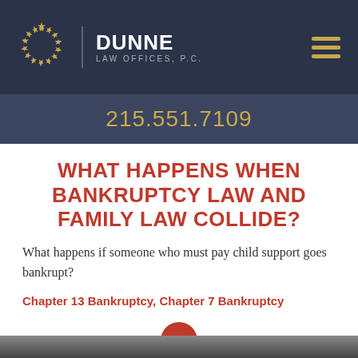[Figure (logo): Dunne Law Offices P.C. logo with gold star circle emblem and firm name in white on dark navy background, with hamburger menu icon]
215.551.7109
WHAT HAPPENS WHEN BANKRUPTCY LAW AND FAMILY LAW COLLIDE?
What happens if someone who must pay child support goes bankrupt?
Chapter 13 Bankruptcy, Chapter 7 Bankruptcy
[Figure (photo): Partial photo of people at bottom of page, cropped]